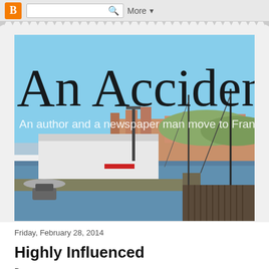Blogger navigation bar with search box and More menu
[Figure (screenshot): Blog header image showing a harbor/port in France (likely Marseille) with boats, buildings, and blue sky. Overlaid with large blog title text 'An Accidental B' and subtitle 'An author and a newspaper man move to France']
Friday, February 28, 2014
Highly Influenced
Beginning of post excerpt text (partially visible)